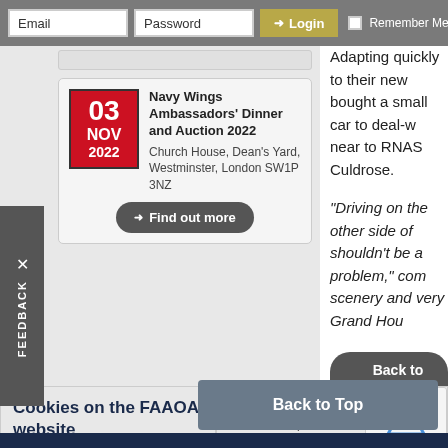Email | Password | Login | Remember Me
[Figure (infographic): Event card showing Navy Wings Ambassadors' Dinner and Auction 2022 on 03 NOV 2022 at Church House, Dean's Yard, Westminster, London SW1P 3NZ with Find out more button]
Adapting quickly to their new... bought a small car to deal-w... near to RNAS Culdrose.
“Driving on the other side of shouldn’t be a problem,” con... scenery and very Grand Ho...
Back to News Articles
Cookies on the FAAOA website
All of our cookies are u... website to operate cor... cookies policy.
Back to Top
FAAOA